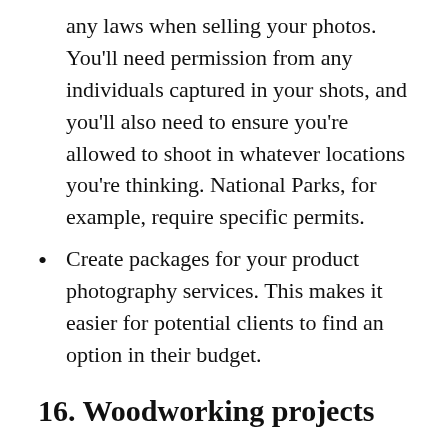any laws when selling your photos. You'll need permission from any individuals captured in your shots, and you'll also need to ensure you're allowed to shoot in whatever locations you're thinking. National Parks, for example, require specific permits.
Create packages for your product photography services. This makes it easier for potential clients to find an option in their budget.
16. Woodworking projects
Woodworking is a favorite pastime for many